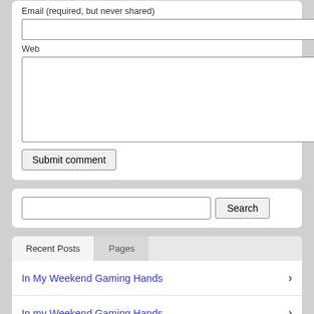Email (required, but never shared)
Web
Submit comment
Search
Recent Posts
Pages
In My Weekend Gaming Hands
In my Weekend Gaming Hands